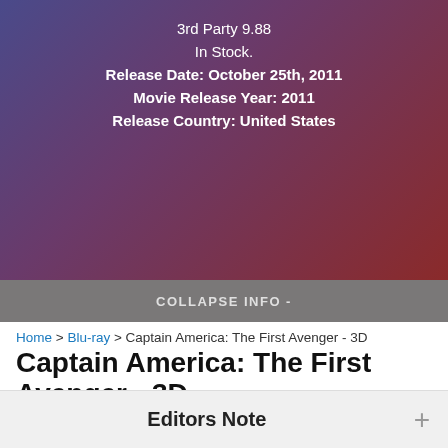3rd Party 9.88
In Stock.
Release Date: October 25th, 2011
Movie Release Year: 2011
Release Country: United States
COLLAPSE INFO -
Home > Blu-ray > Captain America: The First Avenger - 3D
Captain America: The First Avenger - 3D
Review Date October 27th, 2011 by Nate Boss
Overview - After being deemed unfit for military service, Steve Rogers volunteers for a top secret research project that turns him into Captain America, a superhero dedicated to defending America's ideals.
Editors Note